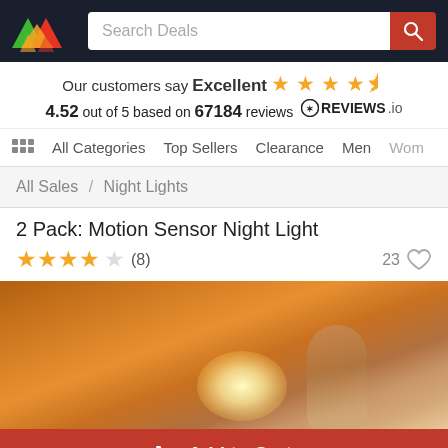Search Deals header with logo and search bar
Our customers say Excellent 4.52 out of 5 based on 67184 reviews REVIEWS.io
All Categories  Top Sellers  Clearance  Men  Wom
All Sales / Night Lights
2 Pack: Motion Sensor Night Light
★★★★☆ (8)   23 ♡
[Figure (photo): Close-up photo of a motion sensor night light glowing warm orange-amber light against a dark background]
Add to Cart